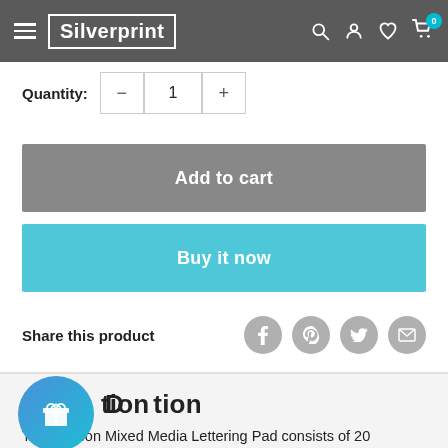Silverprint
Quantity: 1
Add to cart
Buy it now
Share this product
Description
The Canson Mixed Media Lettering Pad consists of 20